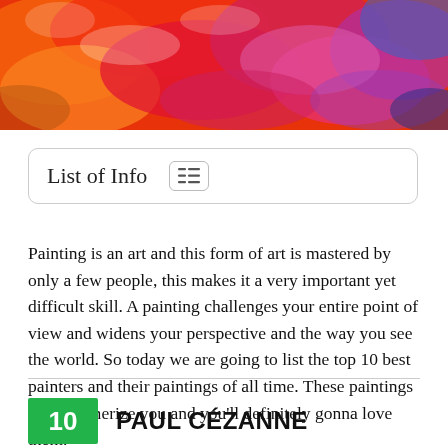[Figure (photo): Colorful abstract painting background image with vivid reds, oranges, pinks, and blues in brush strokes]
List of Info
Painting is an art and this form of art is mastered by only a few people, this makes it a very important yet difficult skill. A painting challenges your entire point of view and widens your perspective and the way you see the world. So today we are going to list the top 10 best painters and their paintings of all time. These paintings will mesmerize you and you'll definitely gonna love them.
10  PAUL CÉZANNE